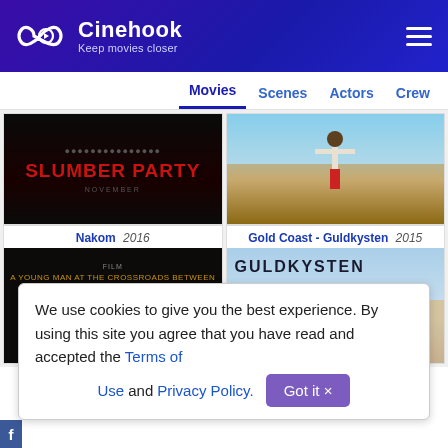Cinehook – Keep movies closer
[Figure (screenshot): Cinehook website header with logo, tagline 'Keep movies closer', hamburger menu, navigation tabs (Movies, Scenes, Actors, Crew), and movie cards for Nakom 2016 and Gold Coast - Guldkysten 2015, plus cookie consent banner.]
We use cookies to give you the best experience. By using this site you agree that you have read and accepted the Terms of Use and Privacy Policy.